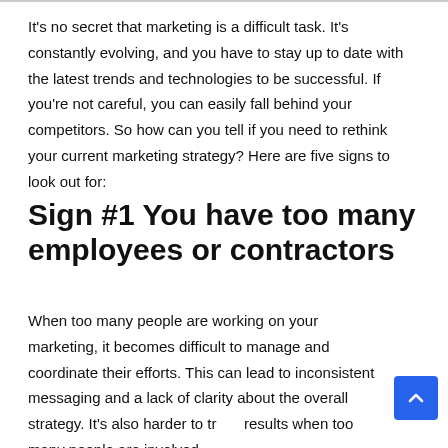It's no secret that marketing is a difficult task. It's constantly evolving, and you have to stay up to date with the latest trends and technologies to be successful. If you're not careful, you can easily fall behind your competitors. So how can you tell if you need to rethink your current marketing strategy? Here are five signs to look out for:
Sign #1 You have too many employees or contractors
When too many people are working on your marketing, it becomes difficult to manage and coordinate their efforts. This can lead to inconsistent messaging and a lack of clarity about the overall strategy. It's also harder to track results when too many people are involved.